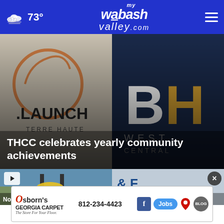73° mywabashvalley.com
[Figure (photo): Close-up of two signs: LAUNCH Terre Haute logo and BH West Central logo on dark background]
THCC celebrates yearly community achievements
[Figure (photo): Video thumbnail showing playground equipment with yellow pieces, play button overlay]
[Figure (photo): Partial view of a banner reading & Family Services with close button]
Non-profit
ACEs training
[Figure (other): Advertisement: Osborn's Georgia Carpet, 812-234-4423, with Facebook icon, Jobs button, map pin, and Blog icon]